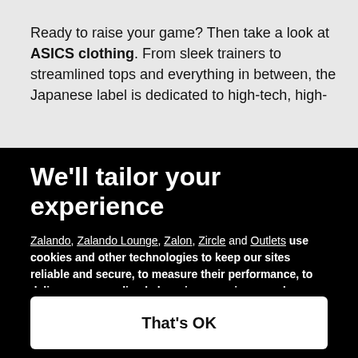Ready to raise your game? Then take a look at ASICS clothing. From sleek trainers to streamlined tops and everything in between, the Japanese label is dedicated to high-tech, high-
We'll tailor your experience
Zalando, Zalando Lounge, Zalon, Zircle and Outlets use cookies and other technologies to keep our sites reliable and secure, to measure their performance, to deliver a personalised shopping experience and personalised advertising. To do this, we collect information about users, their behaviour, and their devices.
If you select "That's OK", you accept this and agree that we may share this
Only essential
Set preferences
That's OK